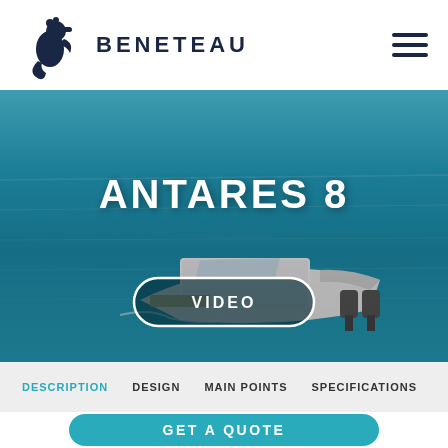[Figure (logo): Beneteau seahorse logo mark in dark navy blue]
BENETEAU
[Figure (photo): Aerial view of Beneteau Antares 8 motorboat on turquoise blue water]
ANTARES 8
VIDEO
DESCRIPTION | DESIGN | MAIN POINTS | SPECIFICATIONS
GET A QUOTE